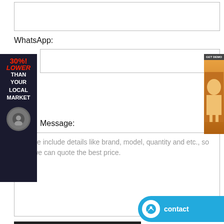[WhatsApp input field]
WhatsApp:
[WhatsApp number field]
Message:
Please include details like brand, model, quantity and etc., so that we can quote the best price.
SUBMIT
Related Bearings
NJ2314-E-TVP2 HJ2314-E | FAG Bearing | bearing size, specification
NJ2310-E-TVP2 HJ2310-E | FAG Bearing | quick quo...
NJ2313-E-TVP2 HJ2313-E | FAG Bearing | bearing v...
NJ2311-E-TVP2 HJ2311-E | FAG Bearing | low noise bearing